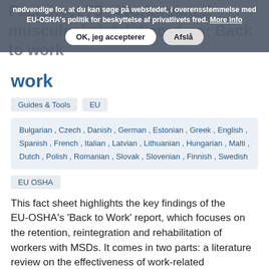nødvendige for, at du kan søge på webstedet, i overensstemmelse med EU-OSHA's politik for beskyttelse af privatlivets fred. More info
OK, jeg accepterer  Afslå
Factsheet 75 · Work‑related musculoskeletal disorders: Back to work
Guides & Tools  EU
Bulgarian , Czech , Danish , German , Estonian , Greek , English , Spanish , French , Italian , Latvian , Lithuanian , Hungarian , Malti , Dutch , Polish , Romanian , Slovak , Slovenian , Finnish , Swedish
EU OSHA
This fact sheet highlights the key findings of the EU‑OSHA's 'Back to Work' report, which focuses on the retention, reintegration and rehabilitation of workers with MSDs. It comes in two parts: a literature review on the effectiveness of work‑related interventions, and an overview of policy…